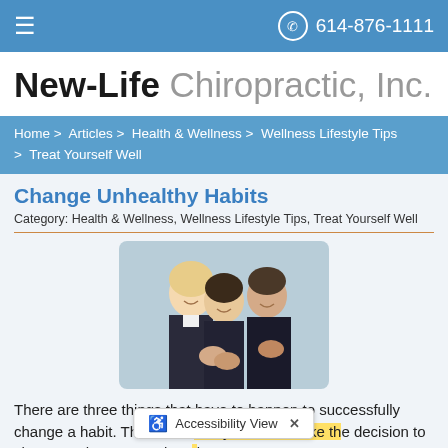≡   614-876-1111
New-Life Chiropractic, Inc.
Home > Articles > Health & Wellness > Wellness Lifestyle Tips > Treat Yourself Well
Change Unhealthy Habits
Category: Health & Wellness, Wellness Lifestyle Tips, Treat Yourself Well
[Figure (photo): Three business professionals applauding and smiling — two women and a man in business attire.]
There are three things that have to happen to successfully change a habit. The first is that you must make the decision to change. When you make a...ing to